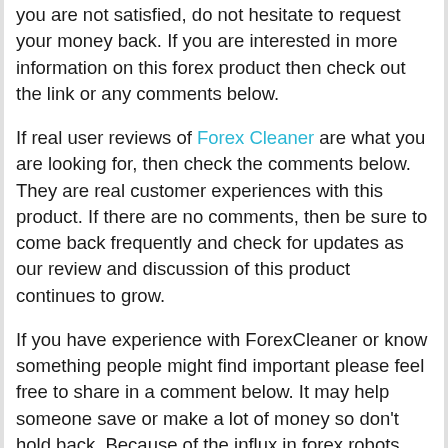you are not satisfied, do not hesitate to request your money back. If you are interested in more information on this forex product then check out the link or any comments below.
If real user reviews of Forex Cleaner are what you are looking for, then check the comments below. They are real customer experiences with this product. If there are no comments, then be sure to come back frequently and check for updates as our review and discussion of this product continues to grow.
If you have experience with ForexCleaner or know something people might find important please feel free to share in a comment below. It may help someone save or make a lot of money so don't hold back. Because of the influx in forex robots and forex systems being released right now, our reviewing as been slowed but our user comments